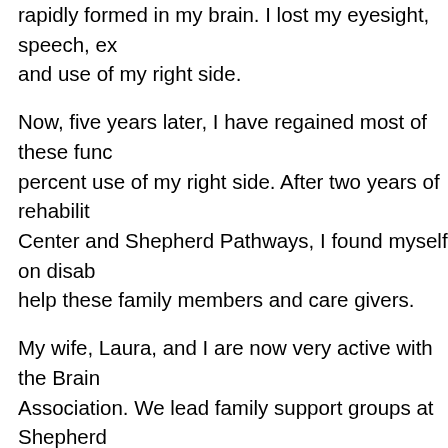rapidly formed in my brain. I lost my eyesight, speech, ex and use of my right side.
Now, five years later, I have regained most of these func percent use of my right side. After two years of rehabilit Center and Shepherd Pathways, I found myself on disab help these family members and care givers.
My wife, Laura, and I are now very active with the Brain Association. We lead family support groups at Shepherd Saturdays each month, as well as at Shepherd Pathways. Our goal is to encourage and help these family member after brain injury and that the “new normal” can be goo
I am active in my church choir, small group Bible study, M (food distribution to those in need) and Unlimited Possib group of 55 or more brain injury survivors and caregive breakfast together once a week and meet monthly. Inve others who are struggling where you have struggled is busy now to work at a job!
Peer visiting led us to recently write a book, Brain Storm: